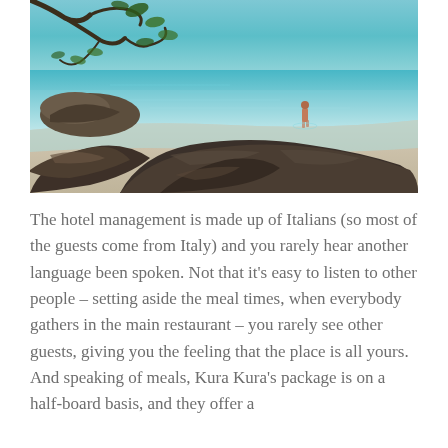[Figure (photo): A tropical beach scene with turquoise water, dark rocks in the foreground, overhanging tree branches at the top left, and a lone person wading in the shallow clear water in the background.]
The hotel management is made up of Italians (so most of the guests come from Italy) and you rarely hear another language been spoken. Not that it's easy to listen to other people – setting aside the meal times, when everybody gathers in the main restaurant – you rarely see other guests, giving you the feeling that the place is all yours. And speaking of meals, Kura Kura's package is on a half-board basis, and they offer a